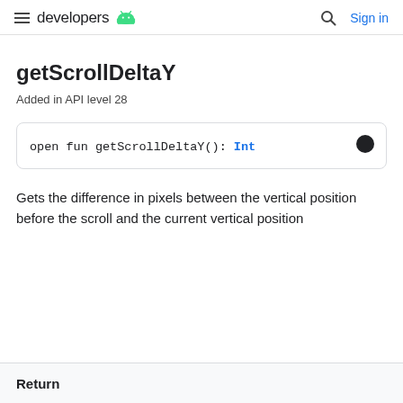developers | Sign in
getScrollDeltaY
Added in API level 28
open fun getScrollDeltaY(): Int
Gets the difference in pixels between the vertical position before the scroll and the current vertical position
Return